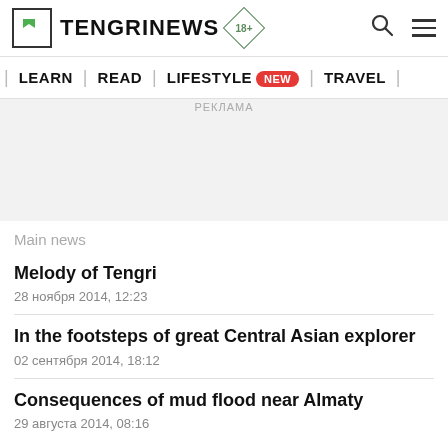TENGRINEWS 18+
| LEARN | READ | LIFESTYLE NEW | TRAVEL |
[Figure (other): Advertisement / promo banner area with light gray background and label РЕКЛАМА]
Main news
Melody of Tengri
28 ноября 2014, 12:23
In the footsteps of great Central Asian explorer
02 сентября 2014, 18:12
Consequences of mud flood near Almaty
29 августа 2014, 08:16